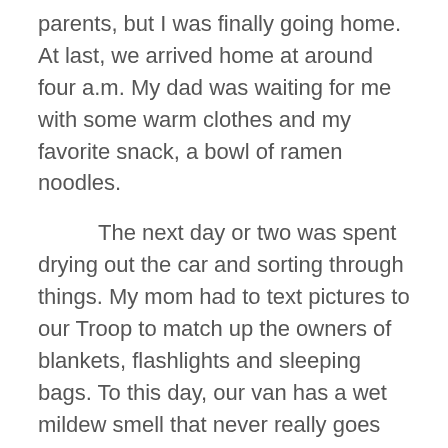parents, but I was finally going home. At last, we arrived home at around four a.m. My dad was waiting for me with some warm clothes and my favorite snack, a bowl of ramen noodles.
The next day or two was spent drying out the car and sorting through things. My mom had to text pictures to our Troop to match up the owners of blankets, flashlights and sleeping bags. To this day, our van has a wet mildew smell that never really goes away. The details of this story have led to wonderful retellings at parties, usually to make people laugh. However, regardless of how many times I told this “horrific camping” story, my Mom always looked a little confused. I didn’t particularly understand why. This trip had been hard for me. However, as I was editing this article, my Mom